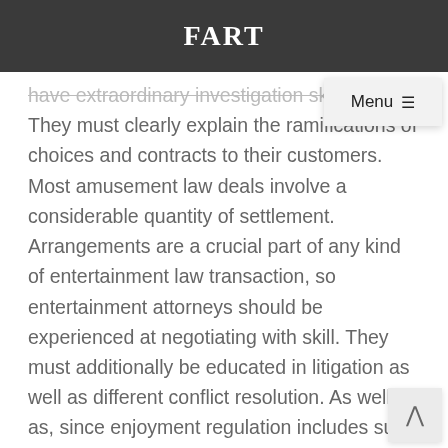FART
have extraordinary investigation skills. They must clearly explain the ramifications of choices and contracts to their customers. Most amusement law deals involve a considerable quantity of settlement. Arrangements are a crucial part of any kind of entertainment law transaction, so entertainment attorneys should be experienced at negotiating with skill. They must additionally be educated in litigation as well as different conflict resolution. As well as, since enjoyment regulation includes such large amounts of money, lawyers